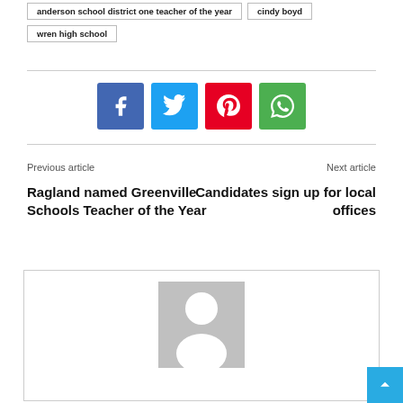anderson school district one teacher of the year
cindy boyd
wren high school
[Figure (infographic): Row of four social sharing icons: Facebook (blue), Twitter (light blue), Pinterest (red), WhatsApp (green)]
Previous article
Next article
Ragland named Greenville Schools Teacher of the Year
Candidates sign up for local offices
[Figure (photo): Generic user avatar placeholder — gray square with white silhouette of a person]